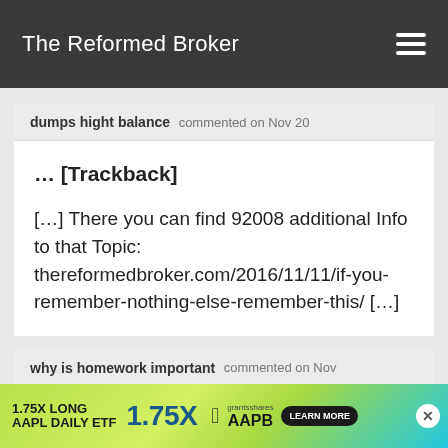The Reformed Broker
dumps hight balance commented on Nov 20
… [Trackback]

[…] There you can find 92008 additional Info to that Topic: thereformedbroker.com/2016/11/11/if-you-remember-nothing-else-remember-this/ […]
why is homework important commented on Nov
[Figure (screenshot): Advertisement banner: 1.75X LONG AAPL DAILY ETF with Apple logo, AAPB ticker, grantsshares branding, and LEARN MORE button]